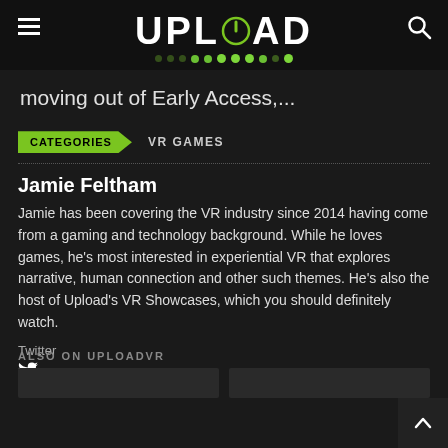UPLOAD
moving out of Early Access,...
CATEGORIES   VR GAMES
Jamie Feltham
Jamie has been covering the VR industry since 2014 having come from a gaming and technology background. While he loves games, he's most interested in experiential VR that explores narrative, human connection and other such themes. He's also the host of Upload's VR Showcases, which you should definitely watch.
Twitter
ALSO ON UPLOADVR